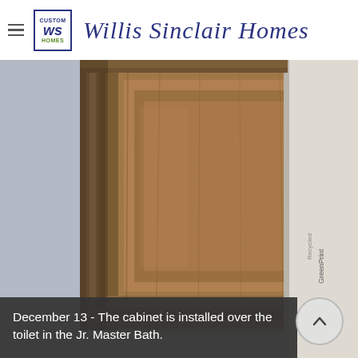Willis Sinclair Homes
[Figure (photo): Close-up photo of a wooden cabinet with raised panel door detail installed over a toilet area in a bathroom. A white pipe or post is visible on the right side. The wood appears to be a medium honey/golden tone.]
December 13 - The cabinet is installed over the toilet in the Jr. Master Bath.